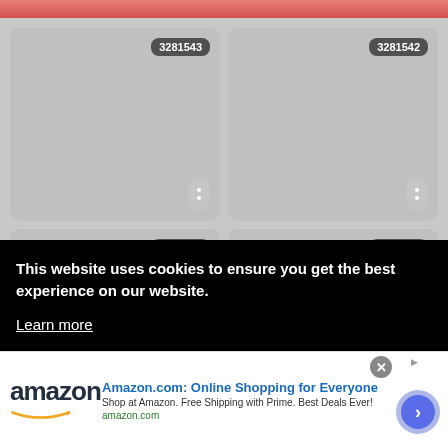[Figure (screenshot): Pink/salmon colored header bar at the top of the page]
[Figure (screenshot): Grid of four thumbnail cards with IDs: 3281543 (top-left), 3281542 (top-right), 3281541 (bottom-left), 3281538 (bottom-right). Each card is a rounded gray rectangle with a dark badge showing the ID number and a white dot menu button in the bottom right corner.]
This website uses cookies to ensure you get the best experience on our website.
Learn more
[Figure (screenshot): Amazon advertisement banner at the bottom. Shows Amazon logo on the left, ad title 'Amazon.com: Online Shopping for Everyone', description 'Shop at Amazon. Free Shipping with Prime. Best Deals Ever!', domain 'amazon.com', and a blue circular CTA arrow button on the right. Close button (X) in gray circle at top right of ad.]